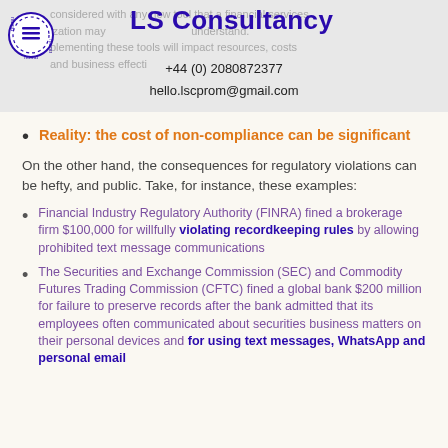LS Consultancy +44 (0) 2080872377 hello.lscprom@gmail.com
Reality: the cost of non-compliance can be significant
On the other hand, the consequences for regulatory violations can be hefty, and public. Take, for instance, these examples:
Financial Industry Regulatory Authority (FINRA) fined a brokerage firm $100,000 for willfully violating recordkeeping rules by allowing prohibited text message communications
The Securities and Exchange Commission (SEC) and Commodity Futures Trading Commission (CFTC) fined a global bank $200 million for failure to preserve records after the bank admitted that its employees often communicated about securities business matters on their personal devices and for using text messages, WhatsApp and personal email